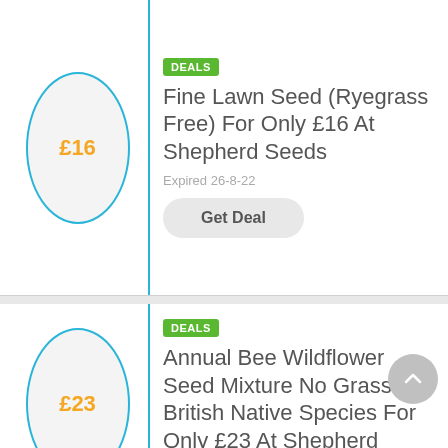[Figure (other): Deal card with oval showing £16 price]
DEALS
Fine Lawn Seed (Ryegrass Free) For Only £16 At Shepherd Seeds
Expired 26-8-22
Get Deal
[Figure (other): Deal card with oval showing £23 price]
DEALS
Annual Bee Wildflower Seed Mixture No Grass British Native Species For Only £23 At Shepherd Seeds